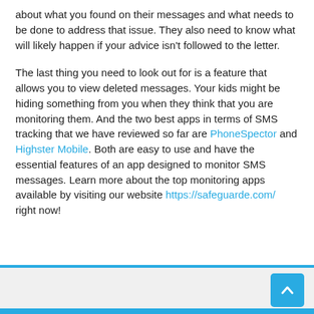about what you found on their messages and what needs to be done to address that issue. They also need to know what will likely happen if your advice isn't followed to the letter.
The last thing you need to look out for is a feature that allows you to view deleted messages. Your kids might be hiding something from you when they think that you are monitoring them. And the two best apps in terms of SMS tracking that we have reviewed so far are PhoneSpector and Highster Mobile. Both are easy to use and have the essential features of an app designed to monitor SMS messages. Learn more about the top monitoring apps available by visiting our website https://safeguarde.com/ right now!